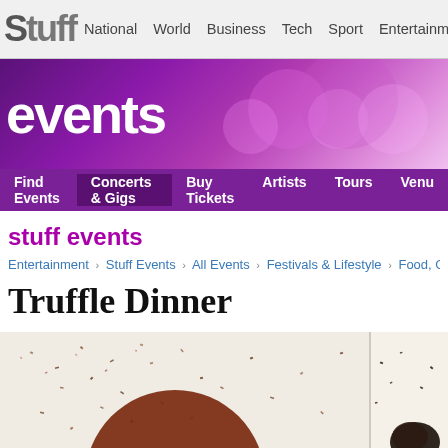Stuff | National | World | Business | Tech | Sport | Entertainment
[Figure (illustration): Events banner with purple bokeh background and the word 'events' in white bold text]
Find Events | Concerts & Gigs | Buy Tickets | Artists | Tours | Venue
stuff events
Entertainment › Stuff Events › All Events › Festivals & Lifestyle › Food, Gourmet, Wine
Truffle Dinner
[Figure (photo): Close-up food photograph split into two panels: left shows a dark chocolate sauce on a white plate with scattered seeds/crumbs, right shows a cream-colored dessert with dark truffle shavings]